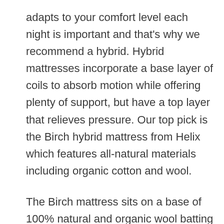adapts to your comfort level each night is important and that's why we recommend a hybrid. Hybrid mattresses incorporate a base layer of coils to absorb motion while offering plenty of support, but have a top layer that relieves pressure. Our top pick is the Birch hybrid mattress from Helix which features all-natural materials including organic cotton and wool.
The Birch mattress sits on a base of 100% natural and organic wool batting with a support layer of individually wrapped coils.